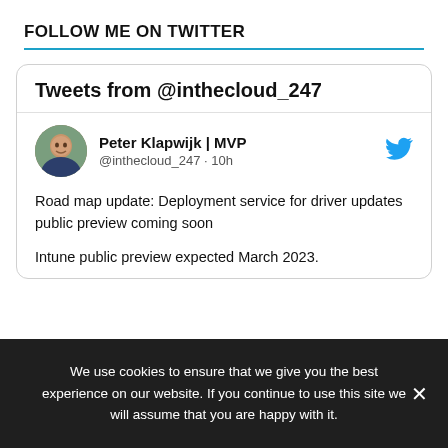FOLLOW ME ON TWITTER
[Figure (screenshot): Twitter widget showing tweets from @inthecloud_247. Contains tweet card header 'Tweets from @inthecloud_247', user profile with avatar of Peter Klapwijk | MVP, @inthecloud_247, 10h, and tweet text: 'Road map update: Deployment service for driver updates public preview coming soon. Intune public preview expected March 2023.']
We use cookies to ensure that we give you the best experience on our website. If you continue to use this site we will assume that you are happy with it.